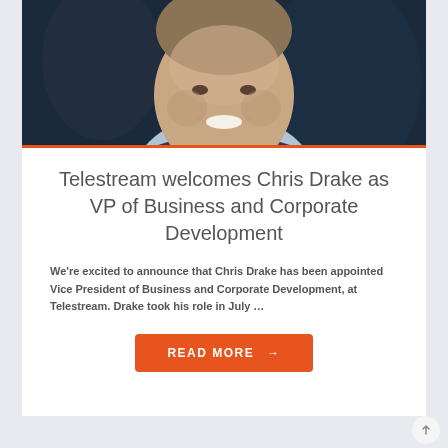[Figure (photo): Close-up headshot of Chris Drake, a man with a smile, wearing a light blue shirt and dark suit jacket, photographed against a dark background.]
Telestream welcomes Chris Drake as VP of Business and Corporate Development
We're excited to announce that Chris Drake has been appointed Vice President of Business and Corporate Development, at Telestream. Drake took his role in July …
READ MORE →